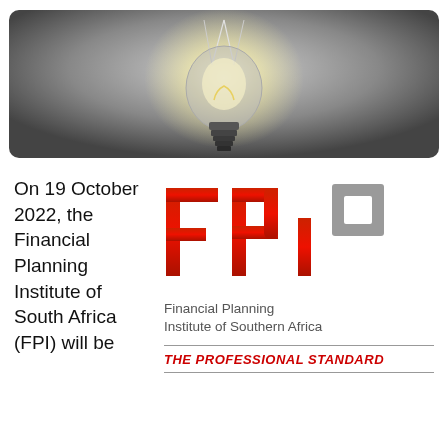[Figure (photo): A dark glowing incandescent light bulb hanging against a grey background, photographed from below with filaments visible.]
On 19 October 2022, the Financial Planning Institute of South Africa (FPI) will be
[Figure (logo): FPI logo — large red letters F, P, I with a grey square icon, followed by text: Financial Planning Institute of Southern Africa. THE PROFESSIONAL STANDARD in red italic bold, with horizontal rules above and below.]